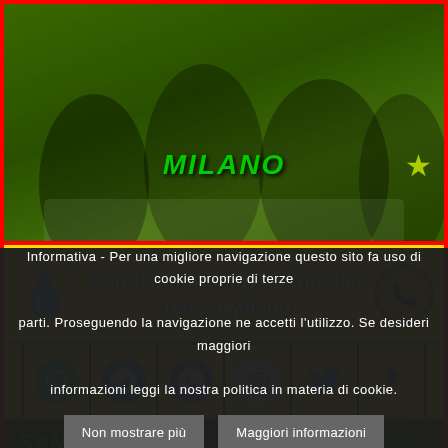[Figure (photo): Photo of women in a room with green tint overlay, text MILANO in green italic bold with a green star]
Carol Vendraminy Pornostar trans a Milano
[Figure (infographic): Social media icon bar with WhatsApp, Telegram, Viber, email, Twitter, and skype-style icons on yellow background]
[Figure (photo): Photo with green tint, text SAMARA SEXY trans in green italic]
Informativa - Per una migliore navigazione questo sito fa uso di cookie proprie di terze parti. Proseguendo la navigazione ne accetti l'utilizzo. Se desideri maggiori informazioni leggi la nostra politica in materia di cookie.
Non mostrare più   Maggiori informazioni